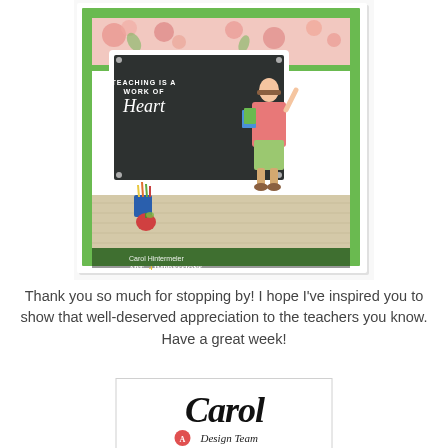[Figure (illustration): A handmade greeting card for teacher appreciation. Green border frame with floral patterned paper. A dark chalkboard panel with white text reading 'TEACHING IS A WORK OF Heart'. A cartoon teacher figure holding books stands at the chalkboard. A pencil cup and apple sit on a wood-grain surface. Watermark reads 'Carol Hintermeler ART 4 IMPRESSIONS'.]
Thank you so much for stopping by!  I hope I've inspired you to show that well-deserved appreciation to the teachers you know.  Have a great week!
[Figure (logo): Signature logo box with cursive text 'Carol' in large bold italic font, and below it an Art Impressions logo icon with italic text 'Design Team'.]